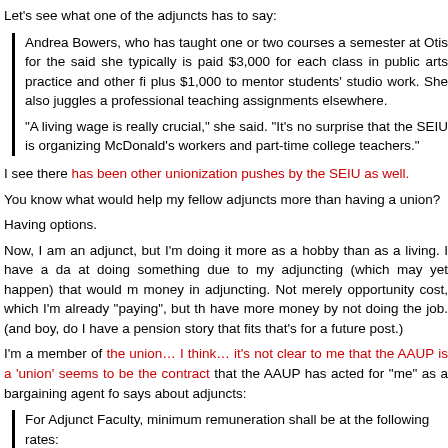Let's see what one of the adjuncts has to say:
Andrea Bowers, who has taught one or two courses a semester at Otis for the said she typically is paid $3,000 for each class in public arts practice and other fi plus $1,000 to mentor students' studio work. She also juggles a professional teaching assignments elsewhere.
“A living wage is really crucial,” she said. “It’s no surprise that the SEIU is organizing McDonald’s workers and part-time college teachers.”
I see there has been other unionization pushes by the SEIU as well.
You know what would help my fellow adjuncts more than having a union?
Having options.
Now, I am an adjunct, but I’m doing it more as a hobby than as a living. I have a da at doing something due to my adjuncting (which may yet happen) that would m money in adjuncting. Not merely opportunity cost, which I’m already “paying”, but th have more money by not doing the job. (and boy, do I have a pension story that fits that’s for a future post.)
I’m a member of the union… I think… it’s not clear to me that the AAUP is a ‘union’ seems to be the contract that the AAUP has acted for “me” as a bargaining agent fo says about adjuncts:
For Adjunct Faculty, minimum remuneration shall be at the following rates: